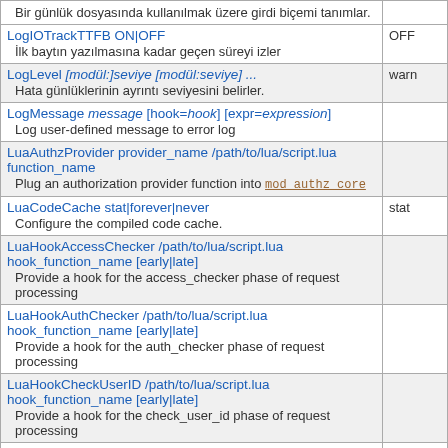| Directive | Default |
| --- | --- |
| Bir günlük dosyasında kullanılmak üzere girdi biçemi tanımlar. |  |
| LogIOTrackTTFB ON|OFF | OFF |
| İlk baytın yazılmasına kadar geçen süreyi izler |  |
| LogLevel [modül:]seviye [modül:seviye] ... | warn |
| Hata günlüklerinin ayrıntı seviyesini belirler. |  |
| LogMessage message [hook=hook] [expr=expression] |  |
| Log user-defined message to error log |  |
| LuaAuthzProvider provider_name /path/to/lua/script.lua function_name |  |
| Plug an authorization provider function into mod_authz_core |  |
| LuaCodeCache stat|forever|never | stat |
| Configure the compiled code cache. |  |
| LuaHookAccessChecker /path/to/lua/script.lua hook_function_name [early|late] |  |
| Provide a hook for the access_checker phase of request processing |  |
| LuaHookAuthChecker /path/to/lua/script.lua hook_function_name [early|late] |  |
| Provide a hook for the auth_checker phase of request processing |  |
| LuaHookCheckUserID /path/to/lua/script.lua hook_function_name [early|late] |  |
| Provide a hook for the check_user_id phase of request processing |  |
| LuaHookFixups /path/to/lua/script.lua hook_function_name |  |